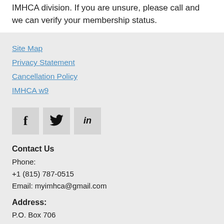IMHCA division. If you are unsure, please call and we can verify your membership status.
Site Map
Privacy Statement
Cancellation Policy
IMHCA w9
[Figure (other): Social media icons: Facebook, Twitter, LinkedIn]
Contact Us
Phone:
+1 (815) 787-0515
Email: myimhca@gmail.com
Address:
P.O. Box 706